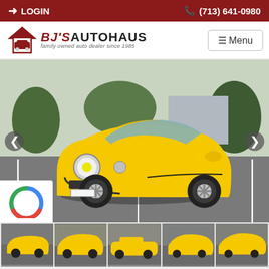LOGIN | (713) 641-0980
[Figure (logo): BJ's Autohaus logo with house/car icon and tagline 'family owned auto dealer since 1985']
Menu
[Figure (photo): Yellow Fiat 500 parked in a parking lot, front 3/4 view]
[Figure (photo): Thumbnail 1: Yellow Fiat 500 front view]
[Figure (photo): Thumbnail 2: Yellow Fiat 500 front angle]
[Figure (photo): Thumbnail 3: Yellow Fiat 500 side view]
[Figure (photo): Thumbnail 4: Yellow Fiat 500 rear angle]
[Figure (photo): Thumbnail 5: Yellow Fiat 500 partial side]